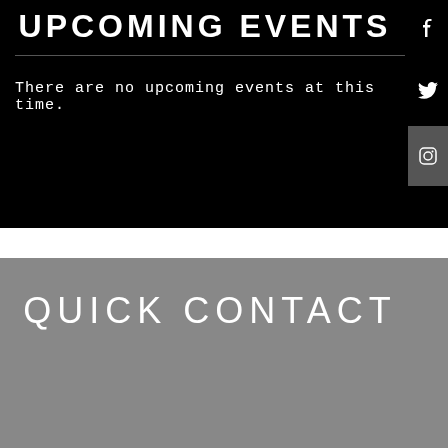UPCOMING EVENTS
There are no upcoming events at this time.
QUICK CONTACT